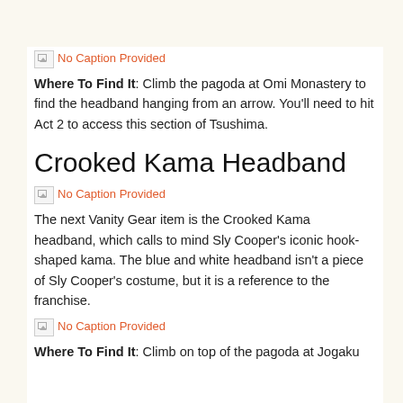[Figure (other): Broken image placeholder with text 'No Caption Provided']
Where To Find It: Climb the pagoda at Omi Monastery to find the headband hanging from an arrow. You'll need to hit Act 2 to access this section of Tsushima.
Crooked Kama Headband
[Figure (other): Broken image placeholder with text 'No Caption Provided']
The next Vanity Gear item is the Crooked Kama headband, which calls to mind Sly Cooper's iconic hook-shaped kama. The blue and white headband isn't a piece of Sly Cooper's costume, but it is a reference to the franchise.
[Figure (other): Broken image placeholder with text 'No Caption Provided']
Where To Find It: Climb on top of the pagoda at Jogaku